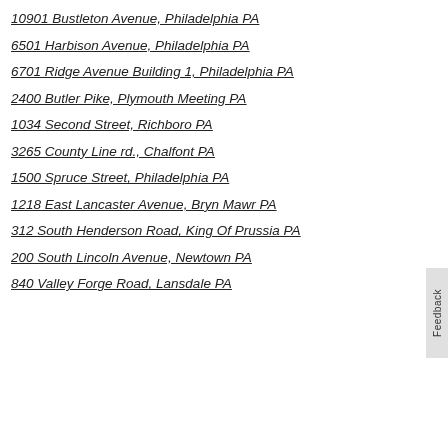10901 Bustleton Avenue, Philadelphia PA
6501 Harbison Avenue, Philadelphia PA
6701 Ridge Avenue Building 1, Philadelphia PA
2400 Butler Pike, Plymouth Meeting PA
1034 Second Street, Richboro PA
3265 County Line rd., Chalfont PA
1500 Spruce Street, Philadelphia PA
1218 East Lancaster Avenue, Bryn Mawr PA
312 South Henderson Road, King Of Prussia PA
200 South Lincoln Avenue, Newtown PA
840 Valley Forge Road, Lansdale PA